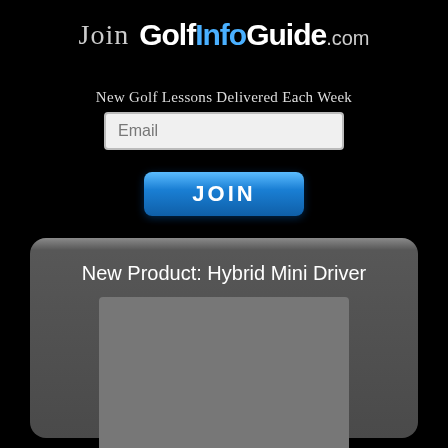Join GolfInfoGuide.com
New Golf Lessons Delivered Each Week
[Figure (screenshot): Email input field with placeholder text 'Email']
[Figure (screenshot): Blue JOIN button]
New Product: Hybrid Mini Driver
[Figure (photo): Gray placeholder image area for product photo]